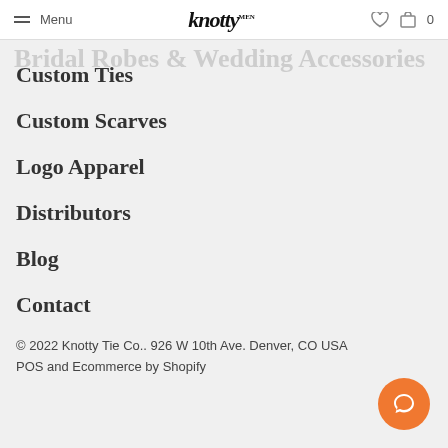Menu | knotty | 0
Custom Ties
Custom Scarves
Logo Apparel
Distributors
Blog
Contact
© 2022 Knotty Tie Co.. 926 W 10th Ave. Denver, CO USA POS and Ecommerce by Shopify